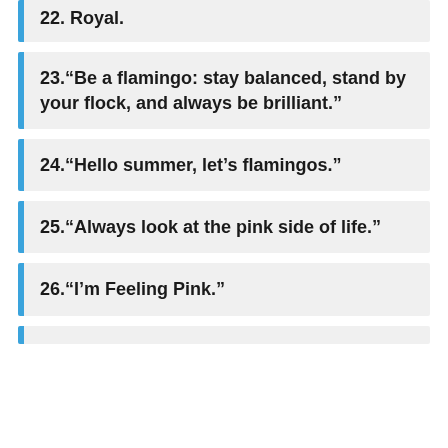22. Royal.
23.“Be a flamingo: stay balanced, stand by your flock, and always be brilliant.”
24.“Hello summer, let’s flamingos.”
25.“Always look at the pink side of life.”
26.“I’m Feeling Pink.”